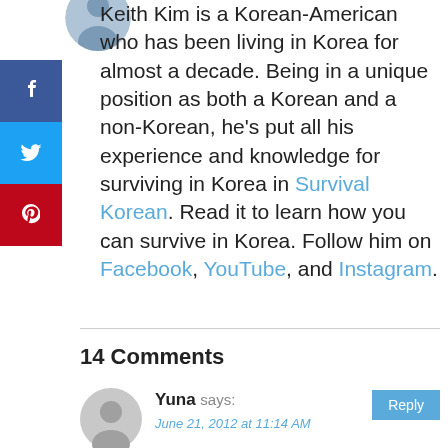[Figure (photo): Circular avatar photo of a person, partially visible at top]
Keith Kim is a Korean-American who has been living in Korea for almost a decade. Being in a unique position as both a Korean and a non-Korean, he's put all his experience and knowledge for surviving in Korea in Survival Korean. Read it to learn how you can survive in Korea. Follow him on Facebook, YouTube, and Instagram.
[Figure (infographic): Social media share buttons: Facebook (blue), Twitter (light blue), Pinterest (red)]
14 Comments
[Figure (photo): Default grey user avatar icon for commenter Yuna]
Yuna says:
June 21, 2012 at 11:14 AM